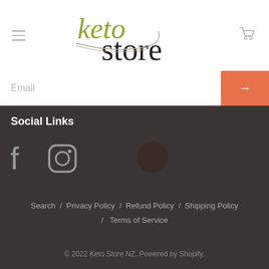[Figure (logo): Keto Store logo with stylized spoon/bowl underline, 'keto' in olive green and 'store' in dark gray]
Email
Social Links
[Figure (illustration): Facebook and Instagram social media icons in gray]
Search / Privacy Policy / Refund Policy / Shipping Policy / Terms of Service
© 2022 Keto Store NZ. Powered by Shopify.